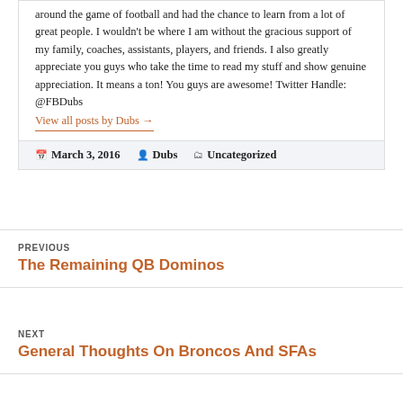around the game of football and had the chance to learn from a lot of great people. I wouldn't be where I am without the gracious support of my family, coaches, assistants, players, and friends. I also greatly appreciate you guys who take the time to read my stuff and show genuine appreciation. It means a ton! You guys are awesome! Twitter Handle: @FBDubs
View all posts by Dubs →
March 3, 2016  Dubs  Uncategorized
PREVIOUS
The Remaining QB Dominos
NEXT
General Thoughts On Broncos And SFAs